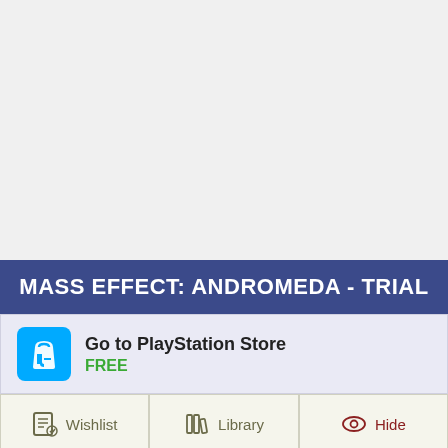MASS EFFECT: ANDROMEDA - TRIAL
Go to PlayStation Store
FREE
Wishlist
Library
Hide